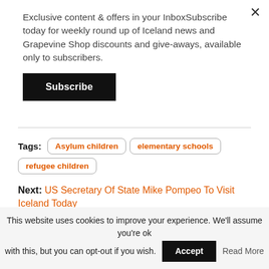Exclusive content & offers in your InboxSubscribe today for weekly round up of Iceland news and Grapevine Shop discounts and give-aways, available only to subscribers.
Subscribe
Tags:
Asylum children
elementary schools
refugee children
Next: US Secretary Of State Mike Pompeo To Visit Iceland Today
Previous: Icelander Missing In Ireland
This website uses cookies to improve your experience. We'll assume you're ok with this, but you can opt-out if you wish.
Accept
Read More